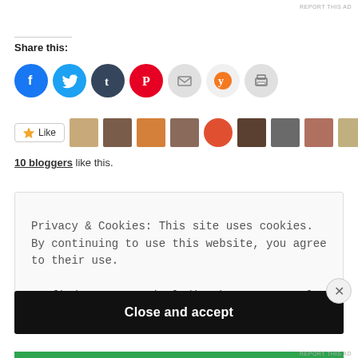REPORT THIS AD
Share this:
[Figure (infographic): Social share buttons: Facebook (blue), Twitter (light blue), Tumblr (dark blue), Pinterest (red), Email (light gray), Yummly (orange), Print (gray)]
Like | 10 bloggers like this.
Privacy & Cookies: This site uses cookies. By continuing to use this website, you agree to their use. To find out more, including how to control cookies, see here: Cookie Policy
Close and accept